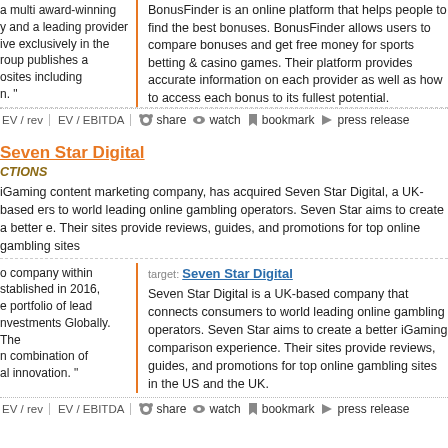a multi award-winning y and a leading provider ive exclusively in the roup publishes a osites including n. "
BonusFinder is an online platform that helps people to find the best bonuses. BonusFinder allows users to compare bonuses and get free money for sports betting & casino games. Their platform provides accurate information on each provider as well as how to access each bonus to its fullest potential.
EV / rev  EV / EBITDA  share  watch  bookmark  press release
Seven Star Digital
CTIONS
iGaming content marketing company, has acquired Seven Star Digital, a UK-based ers to world leading online gambling operators. Seven Star aims to create a better e. Their sites provide reviews, guides, and promotions for top online gambling sites
o company within stablished in 2016, e portfolio of lead nvestments Globally. The n combination of al innovation. "
target: Seven Star Digital
Seven Star Digital is a UK-based company that connects consumers to world leading online gambling operators. Seven Star aims to create a better iGaming comparison experience. Their sites provide reviews, guides, and promotions for top online gambling sites in the US and the UK.
EV / rev  EV / EBITDA  share  watch  bookmark  press release